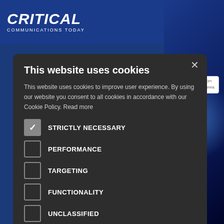[Figure (screenshot): Website header for Critical Communications Today with blue background, logo on left and hamburger menu icon on right]
This website uses cookies
This website uses cookies to improve user experience. By using our website you consent to all cookies in accordance with our Cookie Policy. Read more
STRICTLY NECESSARY (checked)
PERFORMANCE
TARGETING
FUNCTIONALITY
UNCLASSIFIED
ACCEPT ALL
DECLINE ALL
SHOW DETAILS